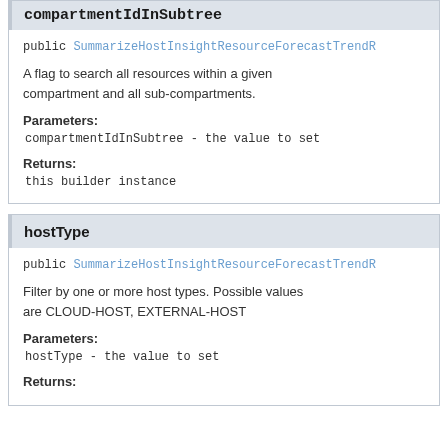compartmentIdInSubtree
public SummarizeHostInsightResourceForecastTrendR
A flag to search all resources within a given compartment and all sub-compartments.
Parameters:
compartmentIdInSubtree - the value to set
Returns:
this builder instance
hostType
public SummarizeHostInsightResourceForecastTrendR
Filter by one or more host types. Possible values are CLOUD-HOST, EXTERNAL-HOST
Parameters:
hostType - the value to set
Returns: